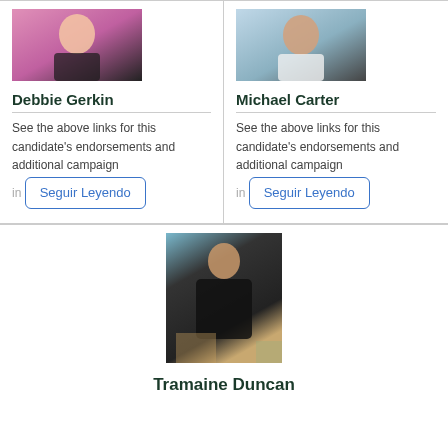[Figure (photo): Photo of Debbie Gerkin, a woman in a pink top and dark jacket]
Debbie Gerkin
See the above links for this candidate's endorsements and additional campaign in
[Figure (photo): Photo of Michael Carter, a man in a white shirt outdoors]
Michael Carter
See the above links for this candidate's endorsements and additional campaign in
[Figure (photo): Photo of Tramaine Duncan, a man in a black shirt standing outdoors near a building]
Tramaine Duncan